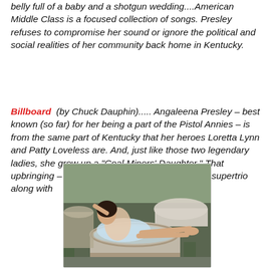belly full of a baby and a shotgun wedding....American Middle Class is a focused collection of songs. Presley refuses to compromise her sound or ignore the political and social realities of her community back home in Kentucky.
Billboard (by Chuck Dauphin)..... Angaleena Presley – best known (so far) for her being a part of the Pistol Annies – is from the same part of Kentucky that her heroes Loretta Lynn and Patty Loveless are. And, just like those two legendary ladies, she grew up a "Coal Miners' Daughter." That upbringing – and her being a part of the Country supertrio along with
[Figure (photo): A woman in a light blue dress reclines in a clawfoot bathtub outdoors, surrounded by other old bathtubs.]